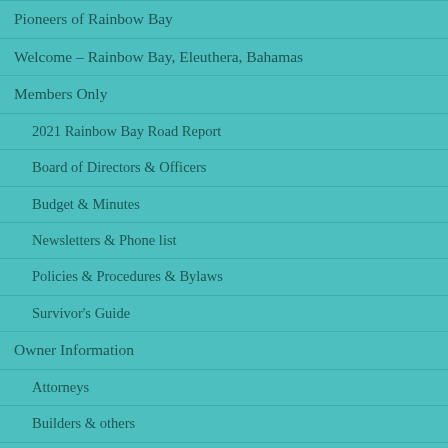Pioneers of Rainbow Bay
Welcome – Rainbow Bay, Eleuthera, Bahamas
Members Only
2021 Rainbow Bay Road Report
Board of Directors & Officers
Budget & Minutes
Newsletters & Phone list
Policies & Procedures & Bylaws
Survivor's Guide
Owner Information
Attorneys
Builders & others
Building Materials
Real Estate Agents
Rental Home Regulations